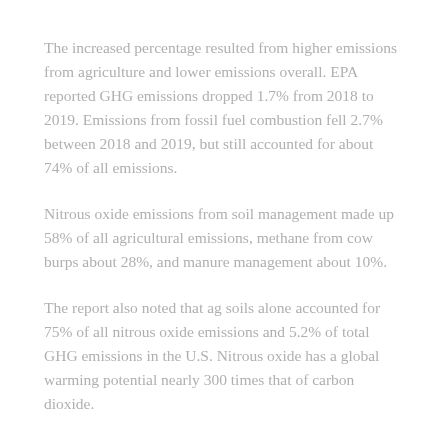The increased percentage resulted from higher emissions from agriculture and lower emissions overall. EPA reported GHG emissions dropped 1.7% from 2018 to 2019. Emissions from fossil fuel combustion fell 2.7% between 2018 and 2019, but still accounted for about 74% of all emissions.
Nitrous oxide emissions from soil management made up 58% of all agricultural emissions, methane from cow burps about 28%, and manure management about 10%.
The report also noted that ag soils alone accounted for 75% of all nitrous oxide emissions and 5.2% of total GHG emissions in the U.S. Nitrous oxide has a global warming potential nearly 300 times that of carbon dioxide.